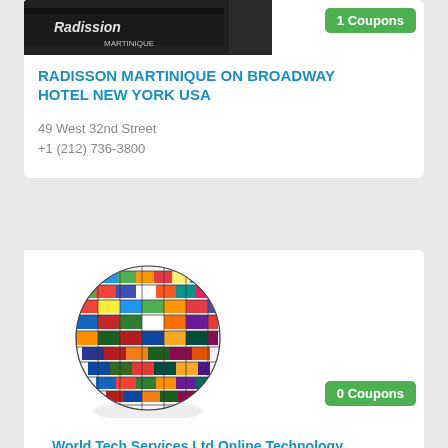[Figure (photo): Hotel sign photo showing Radisson Martinique signage]
1 Coupons
RADISSON MARTINIQUE ON BROADWAY HOTEL NEW YORK USA
49 West 32nd Street
+1 (212) 736-3800
[Figure (illustration): Globe made of international flags]
0 Coupons
World Tech Services Ltd Online Technology